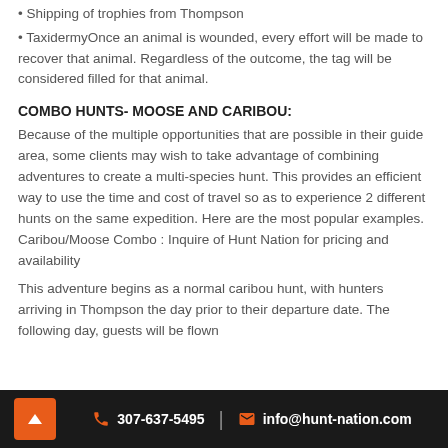Shipping of trophies from Thompson
TaxidermyOnce an animal is wounded, every effort will be made to recover that animal. Regardless of the outcome, the tag will be considered filled for that animal.
COMBO HUNTS- MOOSE AND CARIBOU:
Because of the multiple opportunities that are possible in their guide area, some clients may wish to take advantage of combining adventures to create a multi-species hunt. This provides an efficient way to use the time and cost of travel so as to experience 2 different hunts on the same expedition. Here are the most popular examples.
Caribou/Moose Combo : Inquire of Hunt Nation for pricing and availability
This adventure begins as a normal caribou hunt, with hunters arriving in Thompson the day prior to their departure date. The following day, guests will be flown
307-637-5495 | info@hunt-nation.com